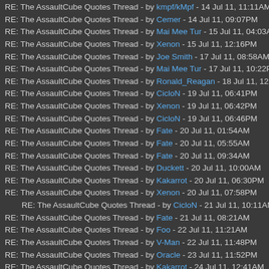RE: The AssaultCube Quotes Thread - by Cemer - 14 Jul 11, 09:07PM
RE: The AssaultCube Quotes Thread - by Mai Mee Tur - 15 Jul 11, 04:03AM
RE: The AssaultCube Quotes Thread - by Xenon - 15 Jul 11, 12:16PM
RE: The AssaultCube Quotes Thread - by Joe Smith - 17 Jul 11, 08:58AM
RE: The AssaultCube Quotes Thread - by Mai Mee Tur - 17 Jul 11, 10:22PM
RE: The AssaultCube Quotes Thread - by Ronald_Reagan - 18 Jul 11, 12:29AM
RE: The AssaultCube Quotes Thread - by CicloN - 19 Jul 11, 06:41PM
RE: The AssaultCube Quotes Thread - by Xenon - 19 Jul 11, 06:42PM
RE: The AssaultCube Quotes Thread - by CicloN - 19 Jul 11, 06:46PM
RE: The AssaultCube Quotes Thread - by Fate - 20 Jul 11, 01:54AM
RE: The AssaultCube Quotes Thread - by Fate - 20 Jul 11, 05:55AM
RE: The AssaultCube Quotes Thread - by Fate - 20 Jul 11, 09:34AM
RE: The AssaultCube Quotes Thread - by Duckett - 20 Jul 11, 10:00AM
RE: The AssaultCube Quotes Thread - by Kakarrot - 20 Jul 11, 06:30PM
RE: The AssaultCube Quotes Thread - by Xenon - 20 Jul 11, 07:58PM
RE: The AssaultCube Quotes Thread - by CicloN - 21 Jul 11, 10:11AM
RE: The AssaultCube Quotes Thread - by Fate - 21 Jul 11, 08:21AM
RE: The AssaultCube Quotes Thread - by Foo - 22 Jul 11, 11:21AM
RE: The AssaultCube Quotes Thread - by V-Man - 22 Jul 11, 11:48PM
RE: The AssaultCube Quotes Thread - by Oracle - 23 Jul 11, 11:52PM
RE: The AssaultCube Quotes Thread - by Kakarrot - 24 Jul 11, 12:41AM
RE: The AssaultCube Quotes Thread - by Orynge - 24 Jul 11, 04:30AM
RE: The AssaultCube Quotes Thread - by MusicMan10 - 24 Jul 11, 05:50AM
RE: The AssaultCube Quotes Thread - by X-Ray_Dog - 24 Jul 11, 08:39PM